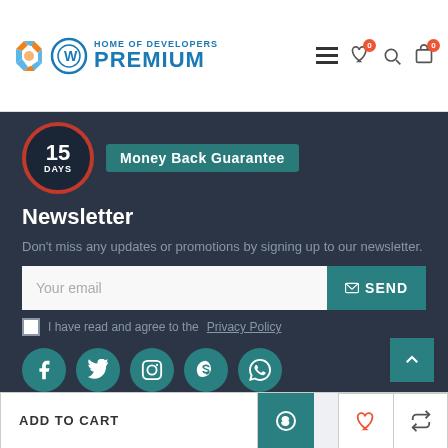[Figure (logo): Home of Developers Premium website logo with Joomla and WordPress icons]
[Figure (infographic): 15 Days Money Back Guarantee badge]
Newsletter
Don't miss any updates or promotions by signing up to our newsletter.
[Figure (screenshot): Email input field with Your email placeholder and SEND button]
I have read and agree to the Privacy Policy
[Figure (infographic): Social media icons: Facebook, Twitter, Instagram, Skype, WhatsApp]
[Figure (infographic): ADD TO CART button with cart icon in footer bar]